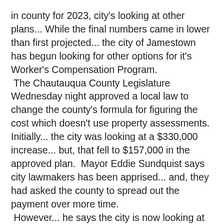in county for 2023, city's looking at other plans... While the final numbers came in lower than first projected... the city of Jamestown has begun looking for other options for it's Worker's Compensation Program.  The Chautauqua County Legislature Wednesday night approved a local law to change the county's formula for figuring the cost which doesn't use property assessments.  Initially... the city was looking at a $330,000 increase... but, that fell to $157,000 in the approved plan.  Mayor Eddie Sundquist says city lawmakers has been apprised... and, they had asked the county to spread out the payment over more time.  However... he says the city is now looking at lower cost options, and he began talking with people at the recent New York State Conference of Mayor's gathering in Albany.  The final plan also increased the cost to the city of Dunkirk by $86,000... and, to Westfield by $7,700.  The changes lower everyone elses costs... including to the county itself.  Legislators say the move will save them up